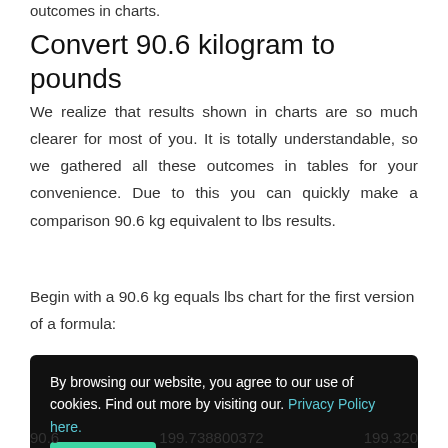outcomes in charts.
Convert 90.6 kilogram to pounds
We realize that results shown in charts are so much clearer for most of you. It is totally understandable, so we gathered all these outcomes in tables for your convenience. Due to this you can quickly make a comparison 90.6 kg equivalent to lbs results.
Begin with a 90.6 kg equals lbs chart for the first version of a formula:
By browsing our website, you agree to our use of cookies. Find out more by visiting our. Privacy Policy here. Accept
90.6    199.738800372    199.320